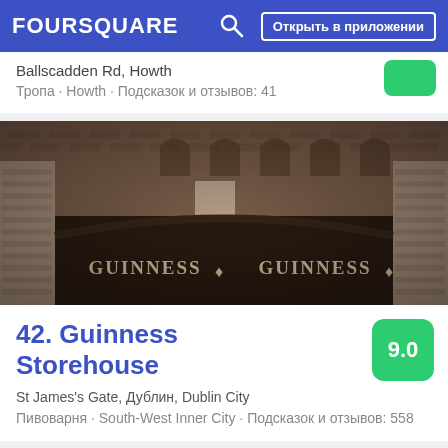FOURSQUARE   Открыть в приложении
Ballscadden Rd, Howth
Тропа · Howth · Подсказок и отзывов: 41
[Figure (photo): Photo of Guinness Storehouse entrance with brick walls and Guinness branding on gates]
42. Guinness Storehouse
St James's Gate, Дублин, Dublin City
Пивоварня · South-West Inner City · Подсказок и отзывов: 558